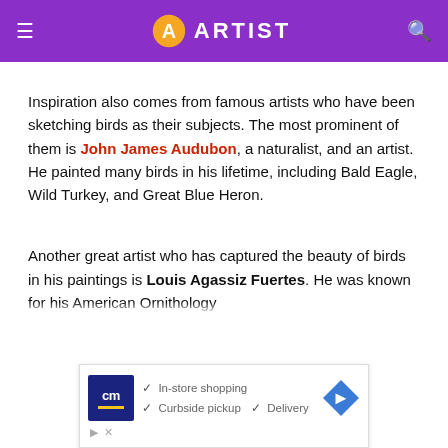ARTIST
Inspiration also comes from famous artists who have been sketching birds as their subjects. The most prominent of them is John James Audubon, a naturalist, and an artist. He painted many birds in his lifetime, including Bald Eagle, Wild Turkey, and Great Blue Heron.
Another great artist who has captured the beauty of birds in his paintings is Louis Agassiz Fuertes. He was known for his American Ornithology
[Figure (screenshot): Advertisement banner showing CM logo with checkmarks for In-store shopping, Curbside pickup, and Delivery with a navigation arrow icon]